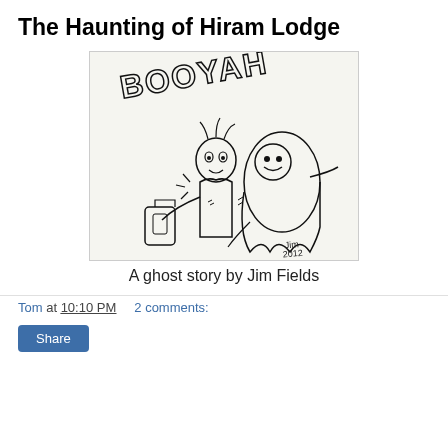The Haunting of Hiram Lodge
[Figure (illustration): A cartoon illustration showing a frightened man being haunted by a grinning ghost. The ghost floats behind the man who holds a lantern. The word 'BOOYAH' appears in large letters at the top. Signed 'Jim 2012' in the lower right corner.]
A ghost story by Jim Fields
Tom at 10:10 PM    2 comments:
Share